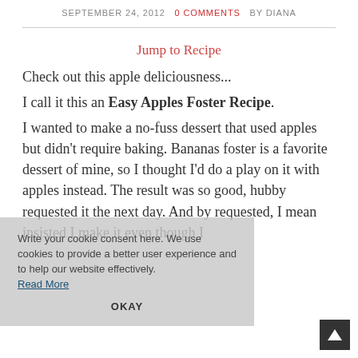SEPTEMBER 24, 2012   0 COMMENTS   BY DIANA
Jump to Recipe
Check out this apple deliciousness...
I call it this an Easy Apples Foster Recipe.
I wanted to make a no-fuss dessert that used apples but didn't require baking. Bananas foster is a favorite dessert of mine, so I thought I'd do a play on it with apples instead. The result was so good, hubby requested it the next day. And by requested, I mean insisted I make it even though I
Write your cookie consent here. We use cookies to provide a better user experience and to help our website effectively.
Read More
OKAY